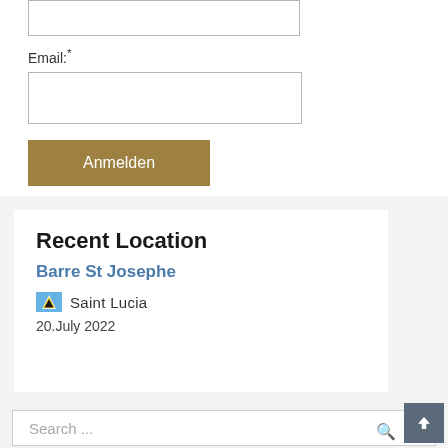Email:*
Anmelden
Recent Location
Barre St Josephe
Saint Lucia
20.July 2022
Search ...